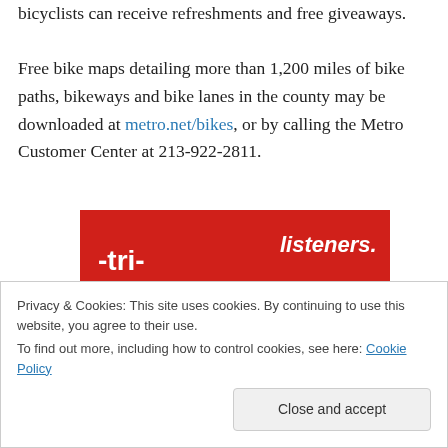bicyclists can receive refreshments and free giveaways.

Free bike maps detailing more than 1,200 miles of bike paths, bikeways and bike lanes in the county may be downloaded at metro.net/bikes, or by calling the Metro Customer Center at 213-922-2811.
[Figure (screenshot): A red advertisement showing a smartphone with a podcast/audio app and text reading '-tri-buted' and 'listeners.' with a 'Download now' button]
Privacy & Cookies: This site uses cookies. By continuing to use this website, you agree to their use.
To find out more, including how to control cookies, see here: Cookie Policy